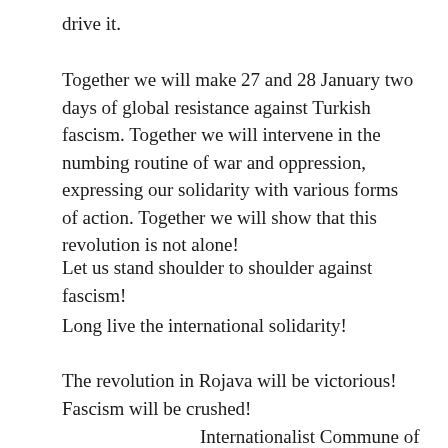drive it.
Together we will make 27 and 28 January two days of global resistance against Turkish fascism. Together we will intervene in the numbing routine of war and oppression, expressing our solidarity with various forms of action. Together we will show that this revolution is not alone!
Let us stand shoulder to shoulder against fascism!
Long live the international solidarity!
The revolution in Rojava will be victorious! Fascism will be crushed!
Internationalist Commune of Rojava